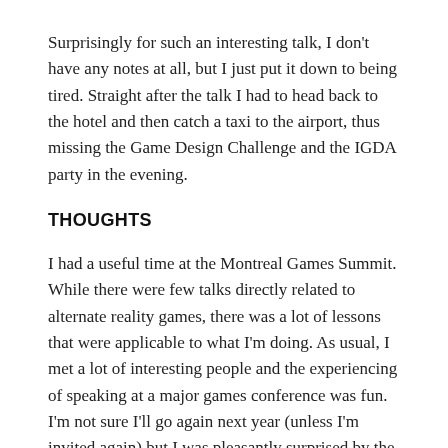Surprisingly for such an interesting talk, I don't have any notes at all, but I just put it down to being tired. Straight after the talk I had to head back to the hotel and then catch a taxi to the airport, thus missing the Game Design Challenge and the IGDA party in the evening.
THOUGHTS
I had a useful time at the Montreal Games Summit. While there were few talks directly related to alternate reality games, there was a lot of lessons that were applicable to what I'm doing. As usual, I met a lot of interesting people and the experiencing of speaking at a major games conference was fun. I'm not sure I'll go again next year (unless I'm invited again) but I was pleasantly surprised by the quality of the speakers and the venue.